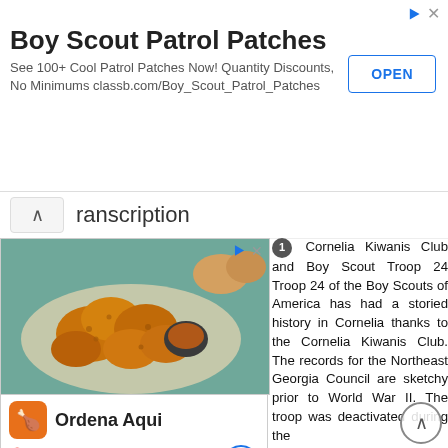[Figure (screenshot): Advertisement banner for Boy Scout Patrol Patches from classb.com with OPEN button]
Transcription
[Figure (screenshot): Advertisement showing fried chicken nuggets with dipping sauce, and Pollo Campero restaurant listing with map]
Cornelia Kiwanis Club and Boy Scout Troop 24 Troop 24 of the Boy Scouts of America has had a storied history in Cornelia thanks to the Cornelia Kiwanis Club. The records for the Northeast Georgia Council are sketchy prior to World War II. The troop was deactivated during the war for a period of time and reactivated around As of this writing the troop number prior to the war cannot be verified. Troop 24 has been used since the troop was reactivated after the war. The Cornelia Kiwanis Club was chartered on April 14, Charter member Cliff Kimsey wrote